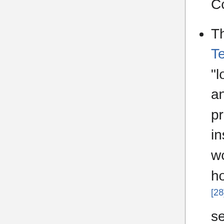forward to serving as an apolitical resource for Congress in pursuit of solutions.[27]
The tech industry lobbying group "Information Technology Industry Council" is aggressively "lobbying officials of the Trump administration and else where to start outlining a federal privacy law." to "overrule the California law and instead put into place a kinder set of rules that would give the companies wide leeway over how personal digital information was handled."[28] According to reviews of their proposals[29] it seems that this group is trying to weaken the privacy laws in comparison to the ones in California or Europe.
HIPPA and COPPA offer legislative protections respectively to the sectors of Health Care patients and